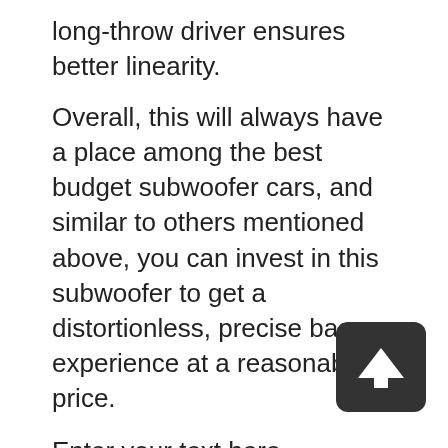long-throw driver ensures better linearity.
Overall, this will always have a place among the best budget subwoofer cars, and similar to others mentioned above, you can invest in this subwoofer to get a distortionless, precise bass experience at a reasonable price.
Enter your text here…
Auto on/off feature with rock-solid MDF construction
Safe placement because of the magnetic shield
Continuous 300-watt power amplifier
Sturdy look with real wood veneer finish